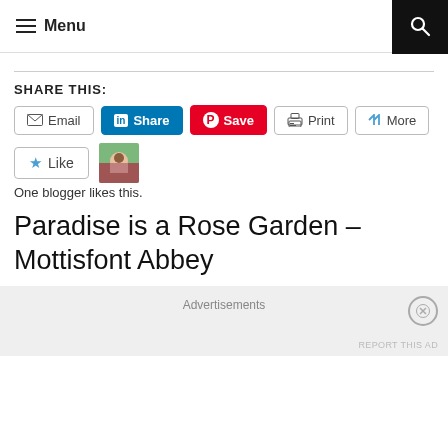Menu
SHARE THIS:
Email | Share | Save | Print | More
Like  One blogger likes this.
Paradise is a Rose Garden – Mottisfont Abbey
Advertisements